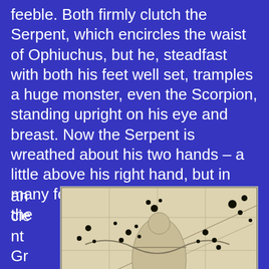feeble. Both firmly clutch the Serpent, which encircles the waist of Ophiuchus, but he, steadfast with both his feet well set, tramples a huge monster, even the Scorpion, standing upright on his eye and breast. Now the Serpent is wreathed about his two hands – a little above his right hand, but in many folds high above his left.To the ancient Greeks, the cons
[Figure (illustration): An old star chart illustration showing the constellation Ophiuchus (the Serpent Bearer) depicted as a figure holding a serpent, with surrounding stars and constellation grid lines. The image has a sepia/antique tone.]